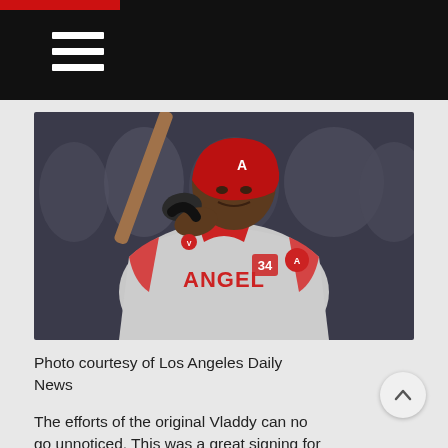[Figure (photo): A Los Angeles Angels baseball player wearing a red helmet with the Angels 'A' logo and a gray Angels uniform with the number 34, holding a baseball bat in a batting stance. The player appears to be Vladimir Guerrero Sr. The background shows a blurred crowd.]
Photo courtesy of Los Angeles Daily News
The efforts of the original Vladdy can no go unnoticed. This was a great signing for